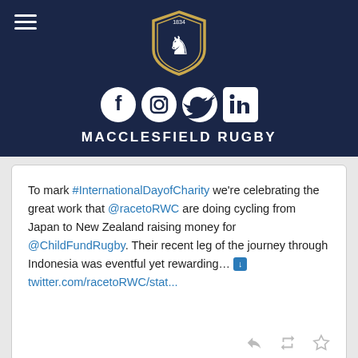[Figure (logo): Macclesfield Rugby shield/crest logo with lion, gold border, navy background, year 1834]
[Figure (infographic): Social media icons: Facebook, Instagram, Twitter, LinkedIn in white on navy background]
MACCLESFIELD RUGBY
To mark #InternationalDayofCharity we're celebrating the great work that @racetoRWC are doing cycling from Japan to New Zealand raising money for @ChildFundRugby. Their recent leg of the journey through Indonesia was eventful yet rewarding... ⬇ twitter.com/racetoRWC/stat...